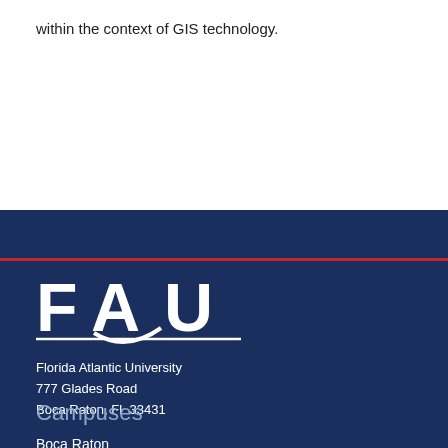within the context of GIS technology.
[Figure (logo): FAU (Florida Atlantic University) logo in white on navy background]
Florida Atlantic University
777 Glades Road
Boca Raton, FL 33431
Campuses
Boca Raton
Dania Beach
Davie
Fort Lauderdale
Harbor Branch
Jupiter